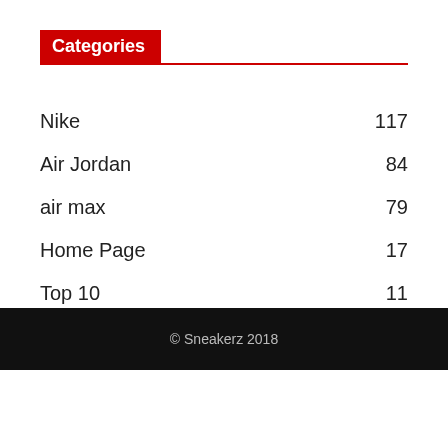Categories
Nike  117
Air Jordan  84
air max  79
Home Page  17
Top 10  11
© Sneakerz 2018